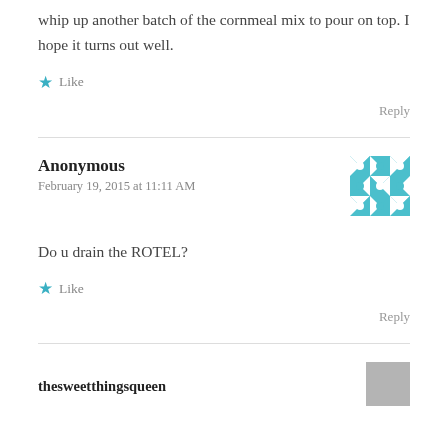whip up another batch of the cornmeal mix to pour on top. I hope it turns out well.
Like
Reply
Anonymous
February 19, 2015 at 11:11 AM
[Figure (illustration): Teal and white quilt-pattern avatar icon]
Do u drain the ROTEL?
Like
Reply
thesweetthingsqueen